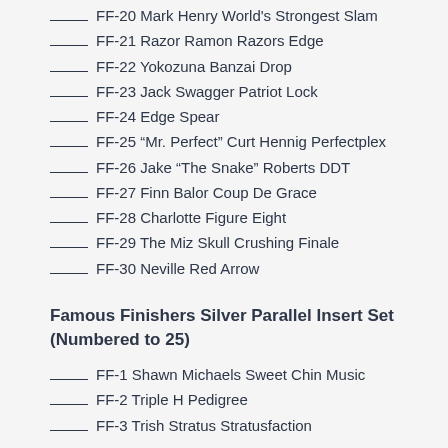___ FF-20 Mark Henry World's Strongest Slam
___ FF-21 Razor Ramon Razors Edge
___ FF-22 Yokozuna Banzai Drop
___ FF-23 Jack Swagger Patriot Lock
___ FF-24 Edge Spear
___ FF-25 “Mr. Perfect” Curt Hennig Perfectplex
___ FF-26 Jake “The Snake” Roberts DDT
___ FF-27 Finn Balor Coup De Grace
___ FF-28 Charlotte Figure Eight
___ FF-29 The Miz Skull Crushing Finale
___ FF-30 Neville Red Arrow
Famous Finishers Silver Parallel Insert Set (Numbered to 25)
___ FF-1 Shawn Michaels Sweet Chin Music
___ FF-2 Triple H Pedigree
___ FF-3 Trish Stratus Stratusfaction